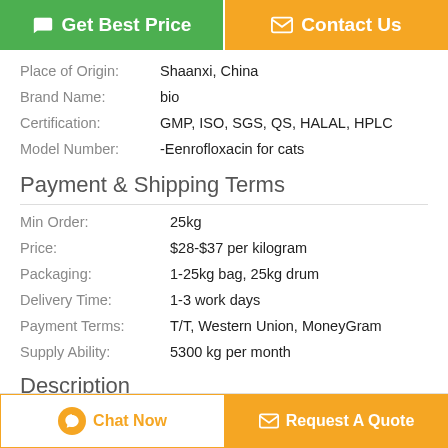[Figure (other): Two buttons: green 'Get Best Price' and orange 'Contact Us']
| Place of Origin: | Shaanxi, China |
| Brand Name: | bio |
| Certification: | GMP, ISO, SGS, QS, HALAL, HPLC |
| Model Number: | -Eenrofloxacin for cats |
Payment & Shipping Terms
| Min Order: | 25kg |
| Price: | $28-$37 per kilogram |
| Packaging: | 1-25kg bag, 25kg drum |
| Delivery Time: | 1-3 work days |
| Payment Terms: | T/T, Western Union, MoneyGram |
| Supply Ability: | 5300 kg per month |
Description
[Figure (other): Bottom buttons: 'Chat Now' and 'Request A Quote']